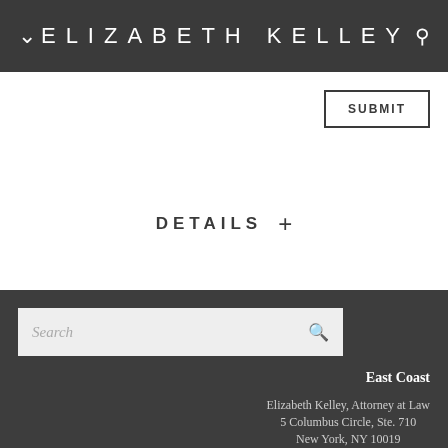ELIZABETH KELLEY
SUBMIT
DETAILS +
Search
East Coast
Elizabeth Kelley, Attorney at Law
5 Columbus Circle, Ste. 710
New York, NY 10019